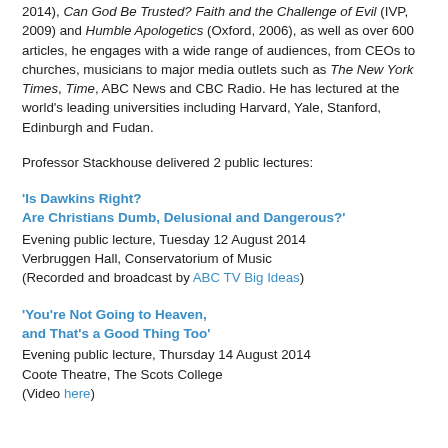2014), Can God Be Trusted? Faith and the Challenge of Evil (IVP, 2009) and Humble Apologetics (Oxford, 2006), as well as over 600 articles, he engages with a wide range of audiences, from CEOs to churches, musicians to major media outlets such as The New York Times, Time, ABC News and CBC Radio. He has lectured at the world's leading universities including Harvard, Yale, Stanford, Edinburgh and Fudan.
Professor Stackhouse delivered 2 public lectures:
'Is Dawkins Right?
Are Christians Dumb, Delusional and Dangerous?'
Evening public lecture, Tuesday 12 August 2014
Verbruggen Hall, Conservatorium of Music
(Recorded and broadcast by ABC TV Big Ideas)
'You're Not Going to Heaven,
and That's a Good Thing Too'
Evening public lecture, Thursday 14 August 2014
Coote Theatre, The Scots College
(Video here)